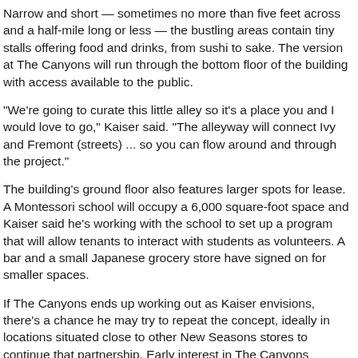Narrow and short — sometimes no more than five feet across and a half-mile long or less — the bustling areas contain tiny stalls offering food and drinks, from sushi to sake. The version at The Canyons will run through the bottom floor of the building with access available to the public.
"We're going to curate this little alley so it's a place you and I would love to go," Kaiser said. "The alleyway will connect Ivy and Fremont (streets) ... so you can flow around and through the project."
The building's ground floor also features larger spots for lease. A Montessori school will occupy a 6,000 square-foot space and Kaiser said he's working with the school to set up a program that will allow tenants to interact with students as volunteers. A bar and a small Japanese grocery store have signed on for smaller spaces.
If The Canyons ends up working out as Kaiser envisions, there's a chance he may try to repeat the concept, ideally in locations situated close to other New Seasons stores to continue that partnership. Early interest in The Canyons indicates the model could be popular. Less than two months after the project's March groundbreaking, seven people